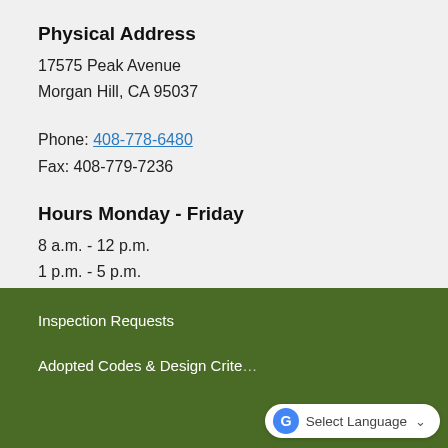Physical Address
17575 Peak Avenue
Morgan Hill, CA 95037
Phone: 408-778-6480
Fax: 408-779-7236
Hours Monday - Friday
8 a.m. - 12 p.m.
1 p.m. - 5 p.m.
Inspection Requests
Adopted Codes & Design Crite…